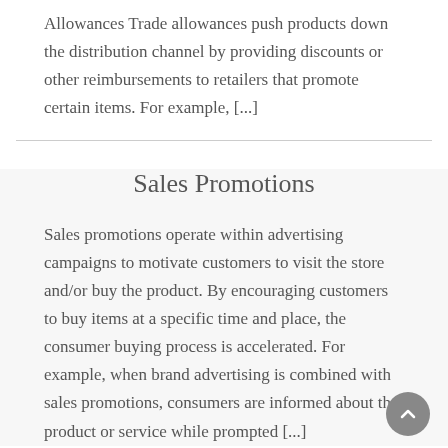Allowances Trade allowances push products down the distribution channel by providing discounts or other reimbursements to retailers that promote certain items. For example, [...]
Sales Promotions
Sales promotions operate within advertising campaigns to motivate customers to visit the store and/or buy the product. By encouraging customers to buy items at a specific time and place, the consumer buying process is accelerated. For example, when brand advertising is combined with sales promotions, consumers are informed about the product or service while prompted [...]